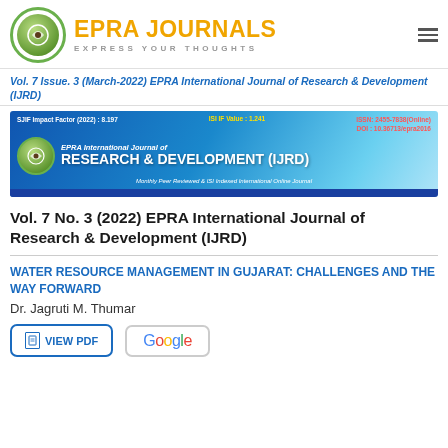EPRA JOURNALS | EXPRESS YOUR THOUGHTS
Vol. 7 Issue. 3 (March-2022) EPRA International Journal of Research & Development (IJRD)
[Figure (illustration): EPRA International Journal of Research & Development (IJRD) banner with SJIF Impact Factor (2022): 8.197, ISI IF Value: 1.241, ISSN: 2455-7838(Online), DOI: 10.36713/epra2016. Monthly Peer Reviewed & ISI Indexed International Online Journal.]
Vol. 7 No. 3 (2022) EPRA International Journal of Research & Development (IJRD)
WATER RESOURCE MANAGEMENT IN GUJARAT: CHALLENGES AND THE WAY FORWARD
Dr. Jagruti M. Thumar
VIEW PDF | Google Scholar